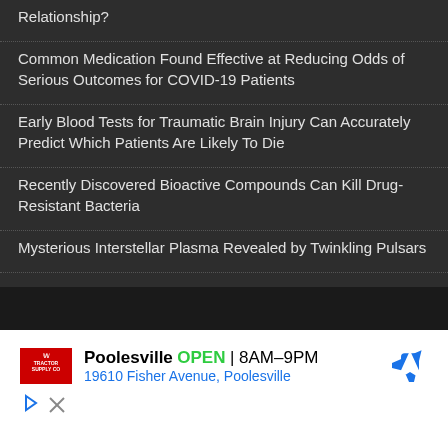Relationship?
Common Medication Found Effective at Reducing Odds of Serious Outcomes for COVID-19 Patients
Early Blood Tests for Traumatic Brain Injury Can Accurately Predict Which Patients Are Likely To Die
Recently Discovered Bioactive Compounds Can Kill Drug-Resistant Bacteria
Mysterious Interstellar Plasma Revealed by Twinkling Pulsars
[Figure (infographic): Tractor Supply Co advertisement showing store location in Poolesville, open 8AM-9PM, at 19610 Fisher Avenue, Poolesville, with navigation icon and ad controls]